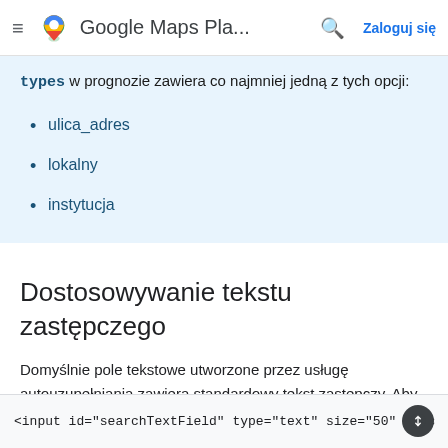Google Maps Pla...  Zaloguj się
types w prognozie zawiera co najmniej jedną z tych opcji:
ulica_adres
lokalny
instytucja
Dostosowywanie tekstu zastępczego
Domyślnie pole tekstowe utworzone przez usługę autouzupełniania zawiera standardowy tekst zastępczy. Aby zmodyfikować tekst, ustaw atrybut placeholder w elemencie input:
<input id="searchTextField" type="text" size="50" plac